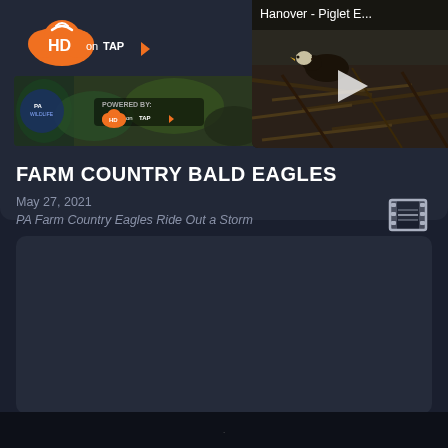[Figure (screenshot): HD on TAP logo — orange cloud with WiFi waves, white HD text, orange arrow/play triangle, 'on TAP' text in white]
[Figure (photo): Banner image with nature/vegetation background and HD on TAP 'Powered By' logo overlay]
[Figure (screenshot): Video thumbnail showing eagle nest with sticks and twigs, bird visible, with play button overlay. Title reads 'Hanover - Piglet E...']
FARM COUNTRY BALD EAGLES
May 27, 2021
PA Farm Country Eagles Ride Out a Storm
[Figure (other): Film/video icon (filmstrip icon) in light color]
[Figure (other): Second card — empty dark content area placeholder]
.